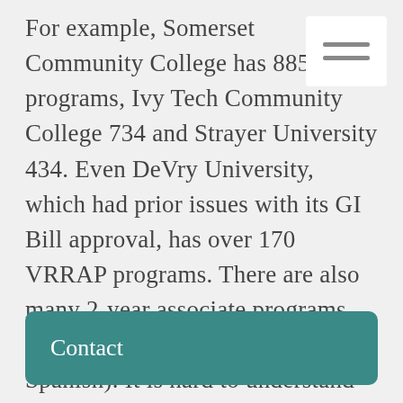For example, Somerset Community College has 885 programs, Ivy Tech Community College 734 and Strayer University 434. Even DeVry University, which had prior issues with its GI Bill approval, has over 170 VRRAP programs. There are also many 2-year associate programs approved (including one for Spanish). It is hard to understand how these programs will meet job placement metrics.
Contact